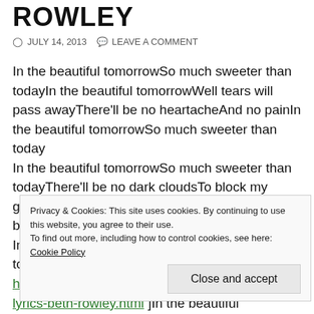ROWLEY
JULY 14, 2013   LEAVE A COMMENT
In the beautiful tomorrowSo much sweeter than todayIn the beautiful tomorrowWell tears will pass awayThere'll be no heartacheAnd no painIn the beautiful tomorrowSo much sweeter than today
In the beautiful tomorrowSo much sweeter than todayThere'll be no dark cloudsTo block my gazeThere'll be no tearsUpon my faceIn the beautiful tomorrowSo much sweeter tomorrow
In the beautiful tomorrowSo much sweeter than today[ From: http://www.metrolyrics.com/beautiful-tomorrow-lyrics-beth-rowley.html ]In the beautiful tomorrowWell tears will pass a... t... -... t...
Oh, in the beautiful tomorrowSo much sweeter than
Privacy & Cookies: This site uses cookies. By continuing to use this website, you agree to their use.
To find out more, including how to control cookies, see here: Cookie Policy
Close and accept